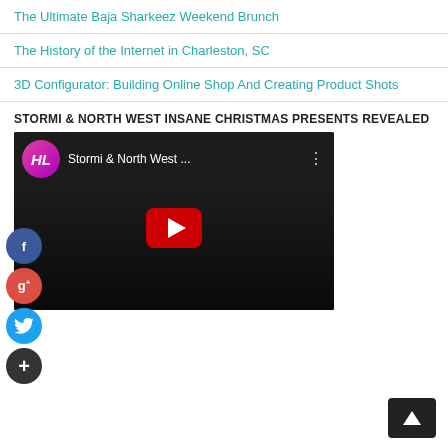The Ultimate Baja Sharkeez Weekend Brunch
The History of the Internet in Charleston, SC
3D Configurator: Building Online Shop And Creating Product Shots
STORMI & NORTH WEST INSANE CHRISTMAS PRESENTS REVEALED
[Figure (screenshot): YouTube video thumbnail showing 'Stormi & North West ...' with HC logo, play button, and dark background with people]
ARCHIVES
August 2022
July 2022